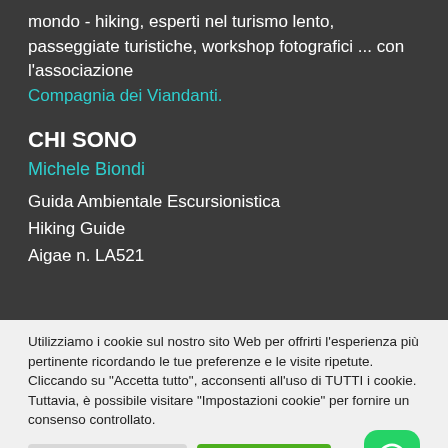mondo - hiking, esperti nel turismo lento, passeggiate turistiche, workshop fotografici ... con l'associazione
Compagnia dei Viandanti.
CHI SONO
Michele Biondi
Guida Ambientale Escursionistica
Hiking Guide
Aigae n. LA521
Utilizziamo i cookie sul nostro sito Web per offrirti l'esperienza più pertinente ricordando le tue preferenze e le visite ripetute. Cliccando su "Accetta tutto", acconsenti all'uso di TUTTI i cookie. Tuttavia, è possibile visitare "Impostazioni cookie" per fornire un consenso controllato.
Impostazioni cookie
Accetta tutto